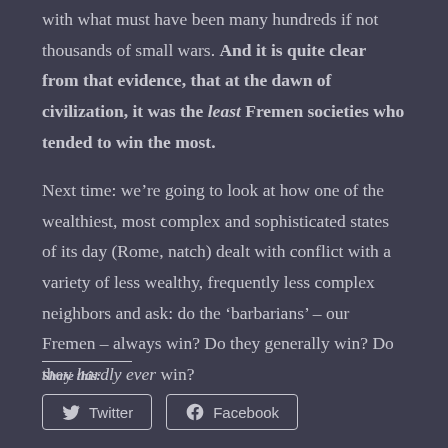with what must have been many hundreds if not thousands of small wars. And it is quite clear from that evidence, that at the dawn of civilization, it was the least Fremen societies who tended to win the most.
Next time: we’re going to look at how one of the wealthiest, most complex and sophisticated states of its day (Rome, natch) dealt with conflict with a variety of less wealthy, frequently less complex neighbors and ask: do the ‘barbarians’ – our Fremen – always win? Do they generally win? Do they hardly ever win?
Share this:
[Figure (other): Twitter and Facebook share buttons]